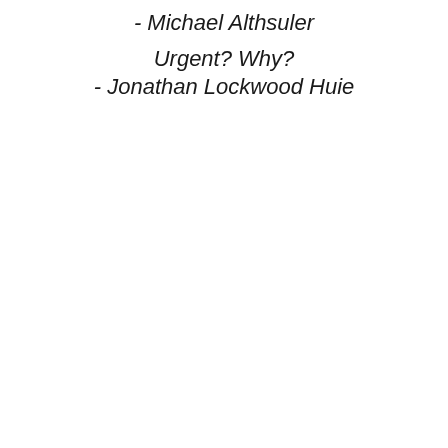- Michael Althsuler
Urgent? Why?
- Jonathan Lockwood Huie